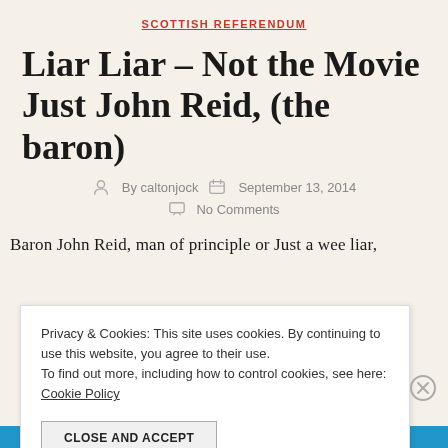SCOTTISH REFERENDUM
Liar Liar – Not the Movie Just John Reid, (the baron)
By caltonjock   September 13, 2014
No Comments
Baron John Reid, man of principle or Just a wee liar,
Privacy & Cookies: This site uses cookies. By continuing to use this website, you agree to their use. To find out more, including how to control cookies, see here: Cookie Policy
CLOSE AND ACCEPT